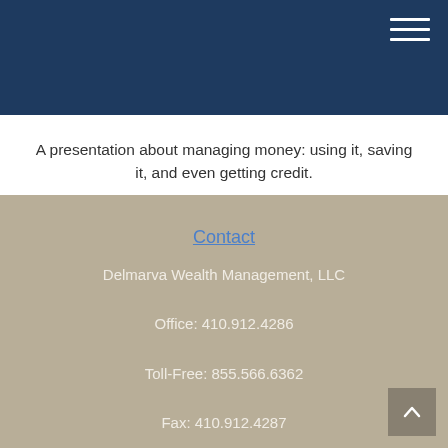A presentation about managing money: using it, saving it, and even getting credit.
Contact
Delmarva Wealth Management, LLC
Office: 410.912.4286
Toll-Free: 855.566.6362
Fax: 410.912.4287
543 Riverside Drive
Suite B
Salisbury, MD 21801
Series 7, 66 held with LPL Financial